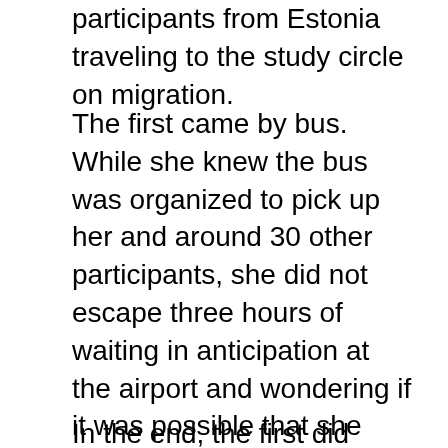participants from Estonia traveling to the study circle on migration.
The first came by bus. While she knew the bus was organized to pick up her and around 30 other participants, she did not escape three hours of waiting in anticipation at the airport and wondering if it was possible that she alone would miss the bus and be stranded. The second discovered five hours before arriving to the airport that there were no more spaces on the bus and considered how she could hitchhike, bike, or walk 65k at night. The third had safely secured a space on the bus, but his flight was delayed and he arrived a day later. As they waited and wondered how they would get where they were going, some of nervousness was relieved with the hope and trust that it was all worth it.
In the end, the first did arrive on a bus with fellow travelers (and a few empty seats). The second found